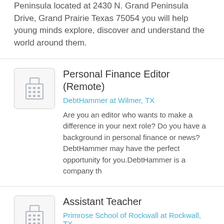Peninsula located at 2430 N. Grand Peninsula Drive, Grand Prairie Texas 75054 you will help young minds explore, discover and understand the world around them.
Personal Finance Editor (Remote)
DebtHammer at Wilmer, TX
Are you an editor who wants to make a difference in your next role? Do you have a background in personal finance or news? DebtHammer may have the perfect opportunity for you.DebtHammer is a company th
Assistant Teacher
Primrose School of Rockwall at Rockwall, TX